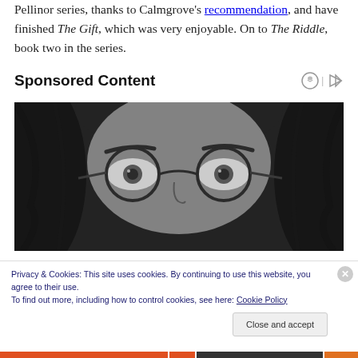Pellinor series, thanks to Calmgrove's recommendation, and have finished The Gift, which was very enjoyable. On to The Riddle, book two in the series.
Sponsored Content
[Figure (photo): Black and white close-up photo of a person wearing round glasses, eyes looking slightly upward, long dark hair.]
Privacy & Cookies: This site uses cookies. By continuing to use this website, you agree to their use.
To find out more, including how to control cookies, see here: Cookie Policy
Close and accept